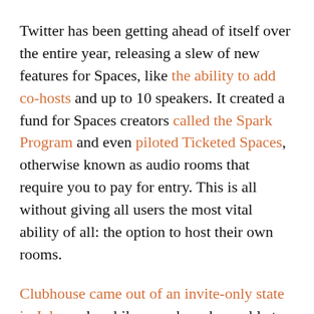Twitter has been getting ahead of itself over the entire year, releasing a slew of new features for Spaces, like the ability to add co-hosts and up to 10 speakers. It created a fund for Spaces creators called the Spark Program and even piloted Ticketed Spaces, otherwise known as audio rooms that require you to pay for entry. This is all without giving all users the most vital ability of all: the option to host their own rooms.
Clubhouse came out of an invite-only state in July, and mobile users have been able to play around with the app ever since. With Twitter only lifting restrictions on hosting privileges now, it might've missed an important window...